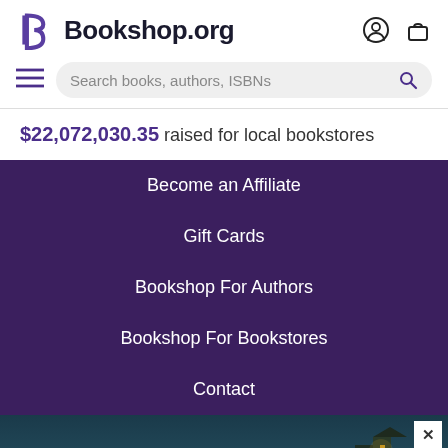Bookshop.org
Search books, authors, ISBNs
$22,072,030.35 raised for local bookstores
Become an Affiliate
Gift Cards
Bookshop For Authors
Bookshop For Bookstores
Contact
[Figure (screenshot): Advertisement banner with dark teal coastal background and a glowing cottage. Text reads: "Alice Feeney is great with TWISTS AND TURNS." — HARLAN COBEN. Yellow italic text for TWISTS AND TURNS.]